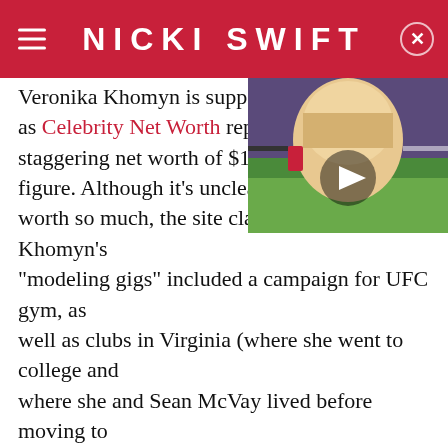NICKI SWIFT
[Figure (screenshot): Video thumbnail showing a blonde woman with a sports stadium background and a play button overlay]
Veronika Khomyn is supposed as Celebrity Net Worth reports staggering net worth of $1 million figure. Although it's unclear ex worth so much, the site claimed that some of Khomyn's "modeling gigs" included a campaign for UFC gym, as well as clubs in Virginia (where she went to college and where she and Sean McVay lived before moving to California). Her large Instagram following could also have something to do with it (paid ads, anyone?).